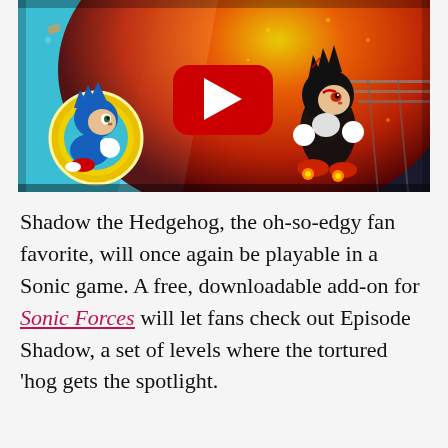[Figure (screenshot): YouTube video thumbnail showing Sonic the Hedgehog on the left in a golden ring on a teal background, and Shadow the Hedgehog running on the right against a fiery orange/red background. A large red YouTube play button is centered on the image.]
Shadow the Hedgehog, the oh-so-edgy fan favorite, will once again be playable in a Sonic game. A free, downloadable add-on for Sonic Forces will let fans check out Episode Shadow, a set of levels where the tortured 'hog gets the spotlight.